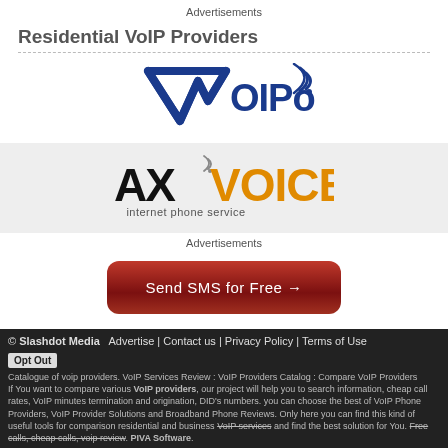Advertisements
Residential VoIP Providers
[Figure (logo): VoIPo logo — stylized blue V with 'OIPo' and wifi signal arcs]
[Figure (logo): AXVoice logo — AX in black bold, VOICE in orange, 'internet phone service' tagline, on grey background]
Advertisements
[Figure (other): Red gradient button reading 'Send SMS for Free →']
© Slashdot Media   Advertise | Contact us | Privacy Policy | Terms of Use
Opt Out
Catalogue of voip providers. VoIP Services Review : VoIP Providers Catalog : Compare VoIP Providers
If You want to compare various VoIP providers, our project will help you to search information, cheap call rates, VoIP minutes termination and origination, DID's numbers. you can choose the best of VoIP Phone Providers, VoIP Provider Solutions and Broadband Phone Reviews. Only here you can find this kind of useful tools for comparison residential and business VoIP services and find the best solution for You. Free calls, cheap calls, voip review. PIVA Software.